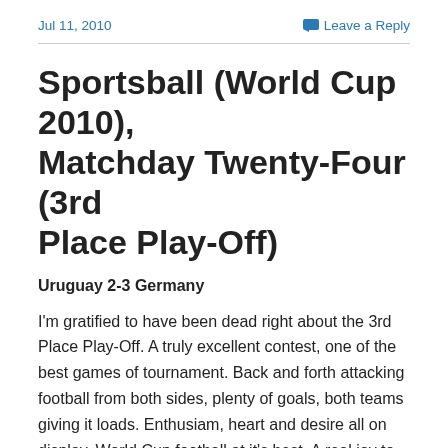Jul 11, 2010   Leave a Reply
Sportsball (World Cup 2010), Matchday Twenty-Four (3rd Place Play-Off)
Uruguay 2-3 Germany
I'm gratified to have been dead right about the 3rd Place Play-Off. A truly excellent contest, one of the best games of tournament. Back and forth attacking football from both sides, plenty of goals, both teams giving it loads. Enthusiam, heart and desire all on display. World Cup football at it's best. A real joy to watch.
Neither defence was playing well, hence the high number